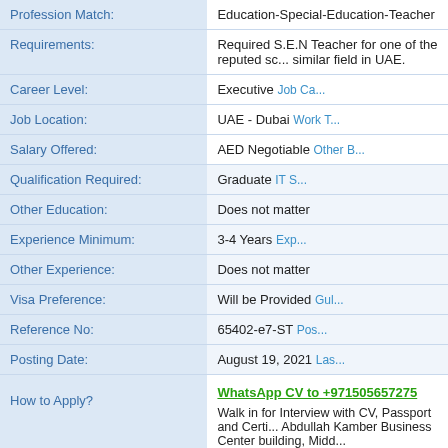| Field | Value |
| --- | --- |
| Profession Match: | Education-Special-Education-Teacher |
| Requirements: | Required S.E.N Teacher for one of the reputed sc... similar field in UAE. |
| Career Level: | Executive   Job Ca... |
| Job Location: | UAE - Dubai   Work T... |
| Salary Offered: | AED Negotiable   Other B... |
| Qualification Required: | Graduate   IT S... |
| Other Education: | Does not matter |
| Experience Minimum: | 3-4 Years   Exp... |
| Other Experience: | Does not matter |
| Visa Preference: | Will be Provided   Gul... |
| Reference No: | 65402-e7-ST   Pos... |
| Posting Date: | August 19, 2021   Las... |
| How to Apply? | WhatsApp CV to +971505657275
Walk in for Interview with CV, Passport and Certi... Abdullah Kamber Business Center building, Midd...
Days & Time: Mondays to Thursdays 12 to 6 PM
Call 0504753686 to fix meeting appointment prio...
Google Meet link: https://goo.gl/maps/my9ql... |